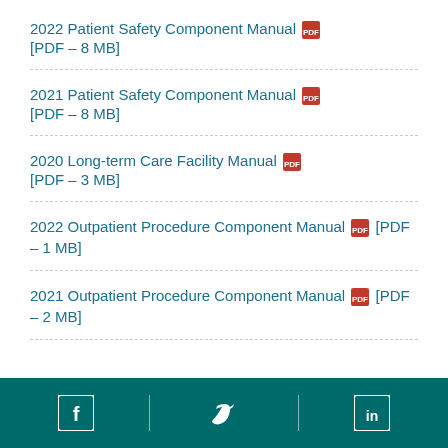2022 Patient Safety Component Manual [PDF – 8 MB]
2021 Patient Safety Component Manual [PDF – 8 MB]
2020 Long-term Care Facility Manual [PDF – 3 MB]
2022 Outpatient Procedure Component Manual [PDF – 1 MB]
2021 Outpatient Procedure Component Manual [PDF – 2 MB]
Social media links: Facebook, Twitter, LinkedIn